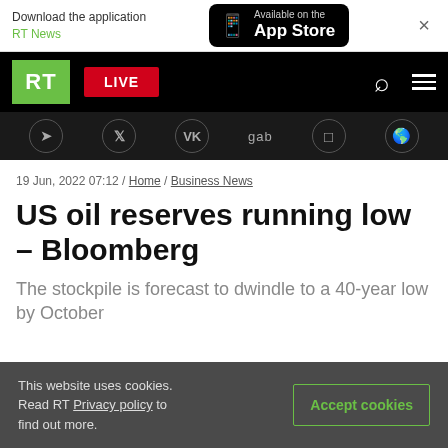[Figure (screenshot): App Store download banner with RT News branding and phone icon]
[Figure (screenshot): RT news website navigation bar with logo, LIVE button, search and hamburger menu icons]
[Figure (screenshot): Social media icons bar: Telegram, Twitter, VK, gab, and other social platforms]
19 Jun, 2022 07:12 / Home / Business News
US oil reserves running low – Bloomberg
The stockpile is forecast to dwindle to a 40-year low by October
This website uses cookies. Read RT Privacy policy to find out more.